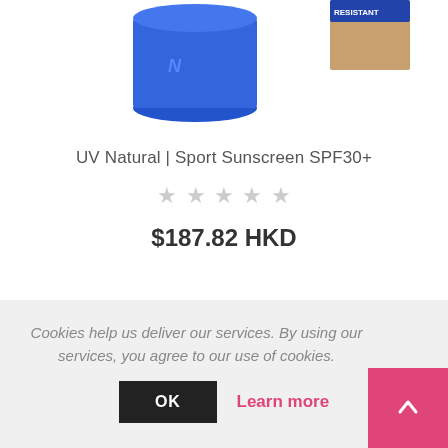[Figure (photo): Product photo showing a blue cylindrical sunscreen container and a product box with 'RESISTANT' text visible, partially cropped at the top of the page]
UV Natural | Sport Sunscreen SPF30+
★★★★★ (empty star rating, 5 stars unselected)
$187.82 HKD
Cookies help us deliver our services. By using our services, you agree to our use of cookies.
OK
Learn more